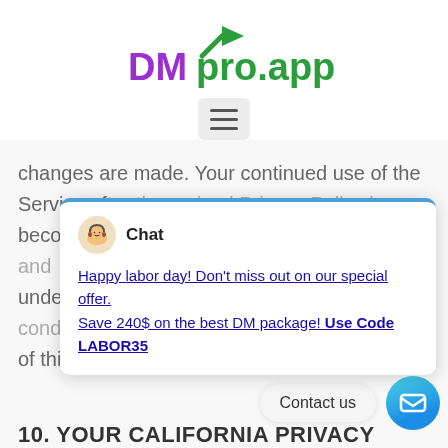[Figure (logo): DMpro.app logo with purple and green text and arrow icon]
[Figure (other): Hamburger menu button (three horizontal lines)]
changes are made. Your continued use of the Service af[ter] [the revised] Privacy Policy h[as] become e[ffective constitutes your] acceptance [and] understo[od agreement to the terms] [and conditions] of this Pri[vacy Policy.]
[Figure (other): Chat popup widget with avatar, title 'Chat', and promotional message: Happy labor day! Don't miss out on our special offer. Save 240$ on the best DM package! Use Code LABOR35]
Contact us
10. YOUR CALIFORNIA PRIVACY